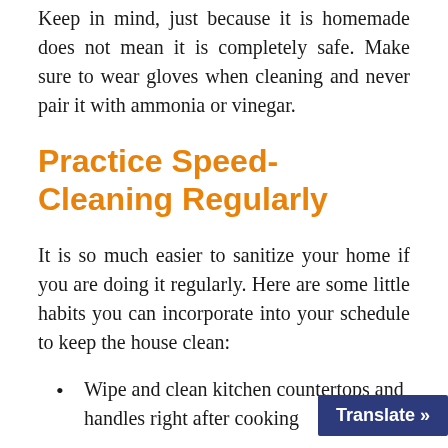Keep in mind, just because it is homemade does not mean it is completely safe. Make sure to wear gloves when cleaning and never pair it with ammonia or vinegar.
Practice Speed-Cleaning Regularly
It is so much easier to sanitize your home if you are doing it regularly. Here are some little habits you can incorporate into your schedule to keep the house clean:
Wipe and clean kitchen countertops and handles right after cooking
Translate »